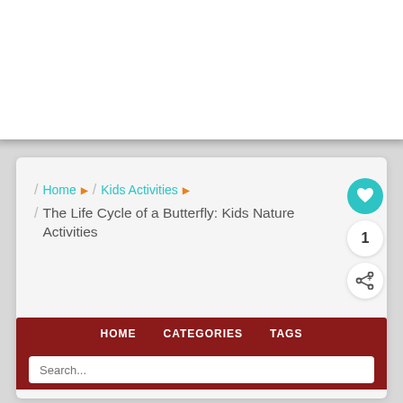[Figure (logo): EDventures with Kids logo featuring a compass and scroll/map illustration with orange and teal text]
[Figure (other): Teal MENU button with three horizontal white lines (hamburger icon)]
/ Home ▶ / Kids Activities ▶
/ The Life Cycle of a Butterfly: Kids Nature Activities
HOME   CATEGORIES   TAGS
Search...